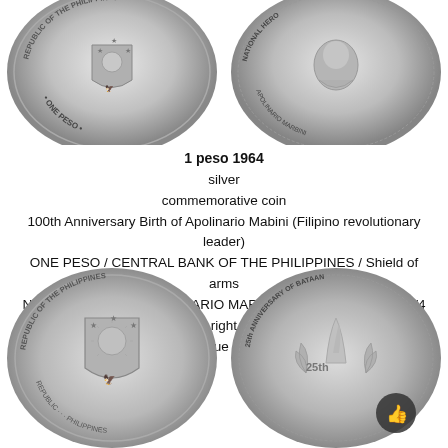[Figure (photo): Two Philippine 1 peso 1964 coins shown from above — left coin shows obverse with ONE PESO and shield of arms, right coin shows reverse with NATIONAL HERO inscription and portrait head]
1 peso 1964
silver
commemorative coin
100th Anniversary Birth of Apolinario Mabini (Filipino revolutionary leader)
ONE PESO / CENTRAL BANK OF THE PHILIPPINES / Shield of arms
NATIONAL HERO / APOLINARIO MARBINI / 1864 1964 / Head 1/4 right
Coin value - $30-35
[Figure (photo): Two Philippine coins shown from below — left coin shows obverse with REPUBLIC OF THE PHILIPPINES shield of arms, right coin shows reverse with 25th ANNIVERSARY OF BATAAN inscription and torch/laurel branch design with thumbs up icon overlay]